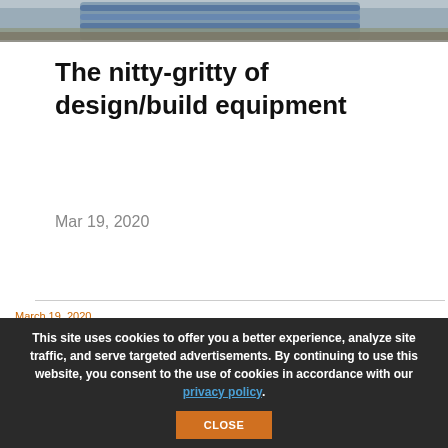[Figure (photo): Partial view of construction/infrastructure equipment with pipes and soil visible at top of page]
The nitty-gritty of design/build equipment
Mar 19, 2020
March 19, 2020
This site uses cookies to offer you a better experience, analyze site traffic, and serve targeted advertisements. By continuing to use this website, you consent to the use of cookies in accordance with our privacy policy.
CLOSE